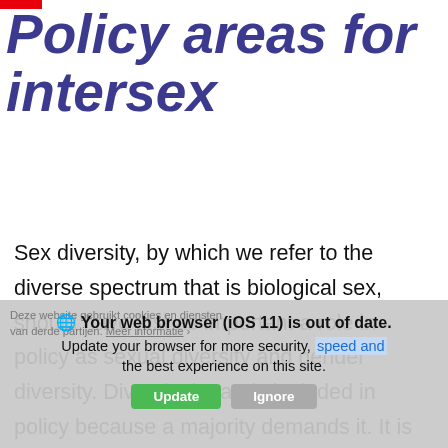Policy areas for intersex
Sex diversity, by which we refer to the diverse spectrum that is biological sex, should have just as important a role in policy as sexual diversity and gender diversity. Diversity is rarely included in policy because a majority demands it. It is the marginalized groups who
[Figure (screenshot): Browser notification bar: 'Your web browser (iOS 11) is out of date. Update your browser for more security, speed and the best experience on this site.' Overlaid on a cookie consent notice in Dutch.]